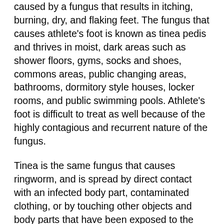caused by a fungus that results in itching, burning, dry, and flaking feet. The fungus that causes athlete's foot is known as tinea pedis and thrives in moist, dark areas such as shower floors, gyms, socks and shoes, commons areas, public changing areas, bathrooms, dormitory style houses, locker rooms, and public swimming pools. Athlete's foot is difficult to treat as well because of the highly contagious and recurrent nature of the fungus.
Tinea is the same fungus that causes ringworm, and is spread by direct contact with an infected body part, contaminated clothing, or by touching other objects and body parts that have been exposed to the fungus. Because the feet are an ideal place for tinea to grow and spread, this is the most commonly affected area.  It is, however, known to grow in other places. The term athlete’s foot describes tinea that grows strictly on the feet.
The most commonly infected body parts are the